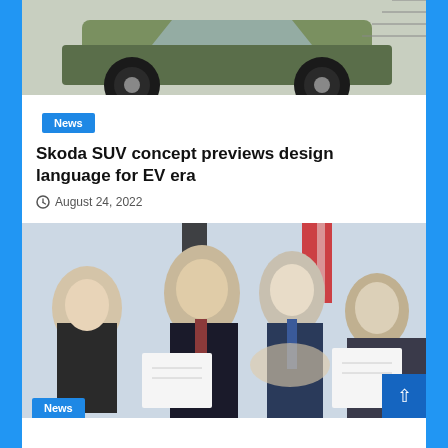[Figure (photo): Skoda SUV concept car image showing wheel and front design in olive green and dark tones]
News
Skoda SUV concept previews design language for EV era
August 24, 2022
[Figure (photo): Photo of men in suits shaking hands at a formal signing ceremony, with people smiling in the background and flags visible]
News